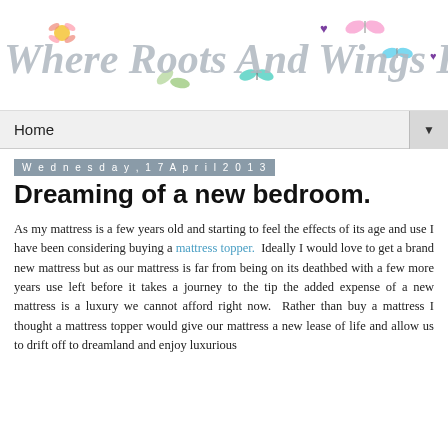[Figure (logo): Blog header logo with decorative text reading 'Where Roots And Wings Entwine' with colorful floral and butterfly decorations]
Home
Wednesday, 17 April 2013
Dreaming of a new bedroom.
As my mattress is a few years old and starting to feel the effects of its age and use I have been considering buying a mattress topper.  Ideally I would love to get a brand new mattress but as our mattress is far from being on its deathbed with a few more years use left before it takes a journey to the tip the added expense of a new mattress is a luxury we cannot afford right now.  Rather than buy a mattress I thought a mattress topper would give our mattress a new lease of life and allow us to drift off to dreamland and enjoy luxurious